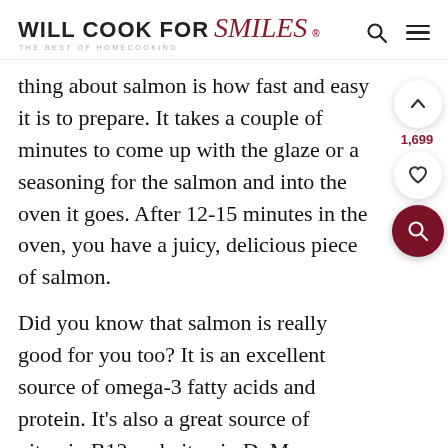WILL COOK FOR Smiles® THE BEST OF HOMECOOKING
thing about salmon is how fast and easy it is to prepare. It takes a couple of minutes to come up with the glaze or a seasoning for the salmon and into the oven it goes. After 12-15 minutes in the oven, you have a juicy, delicious piece of salmon.
Did you know that salmon is really good for you too? It is an excellent source of omega-3 fatty acids and protein. It's also a great source of vitamin B12 and vitamin D. Many people actually have a deficiency of Vitamins B12 and